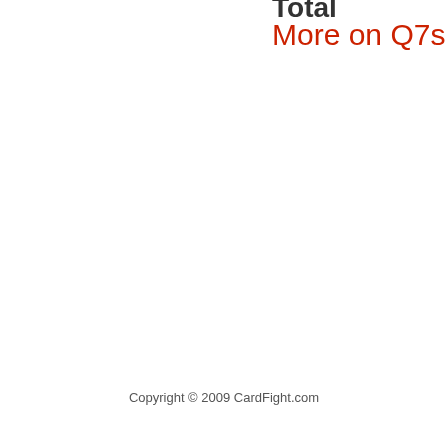Total
More on Q7s | Detailed matc
Copyright © 2009 CardFight.com